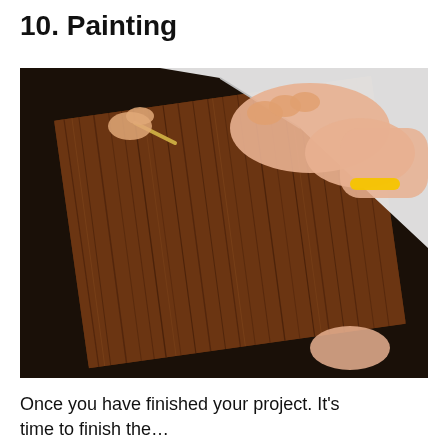10. Painting
[Figure (photo): Hands peeling a protective film or paper backing off a wood-grain patterned panel or sheet. One hand holds a thin stylus or tool at the corner, the other hand with a yellow bracelet peels back the white backing sheet. The panel shows a dark brown wood grain texture.]
Once you have finished your project. It’s time to finish the…